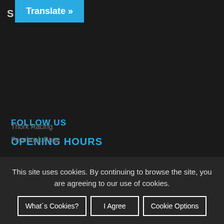S Translate »
OPENING HOURS
Monday to Friday:
From 10:00 to 13:00
From 14:00 to 19:00
Saturday: appointment only
info@thorkracing.com
FOLLOW US
Thork Racing
Facebook Page
This site uses cookies. By continuing to browse the site, you are agreeing to our use of cookies.
What´s Cookies?   I Agree   Cookie Options